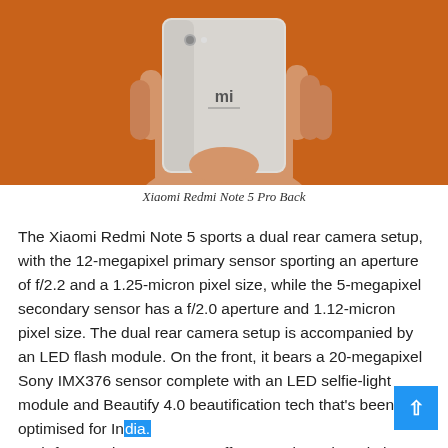[Figure (photo): Hand holding a Xiaomi Redmi Note 5 Pro showing the back of the device with Mi logo, against an orange background]
Xiaomi Redmi Note 5 Pro Back
The Xiaomi Redmi Note 5 sports a dual rear camera setup, with the 12-megapixel primary sensor sporting an aperture of f/2.2 and a 1.25-micron pixel size, while the 5-megapixel secondary sensor has a f/2.0 aperture and 1.12-micron pixel size. The dual rear camera setup is accompanied by an LED flash module. On the front, it bears a 20-megapixel Sony IMX376 sensor complete with an LED selfie-light module and Beautify 4.0 beautification tech that's been optimised for India. Both front and rear cameras offer Portrait mode Bokeh effects.